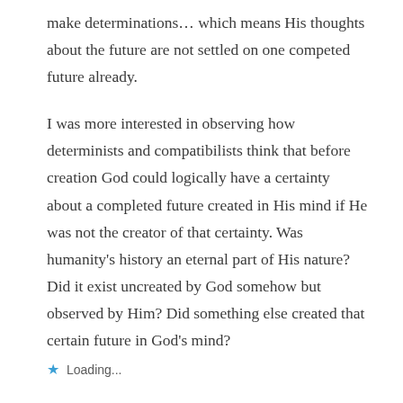make determinations… which means His thoughts about the future are not settled on one competed future already.
I was more interested in observing how determinists and compatibilists think that before creation God could logically have a certainty about a completed future created in His mind if He was not the creator of that certainty. Was humanity's history an eternal part of His nature? Did it exist uncreated by God somehow but observed by Him? Did something else created that certain future in God's mind?
Loading...